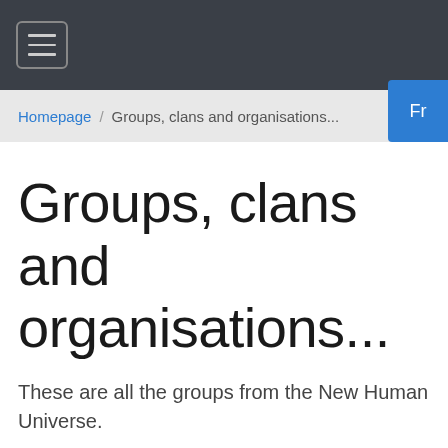[Figure (screenshot): Navigation bar with hamburger menu icon on dark background]
Homepage / Groups, clans and organisations...
Groups, clans and organisations...
These are all the groups from the New Human Universe.